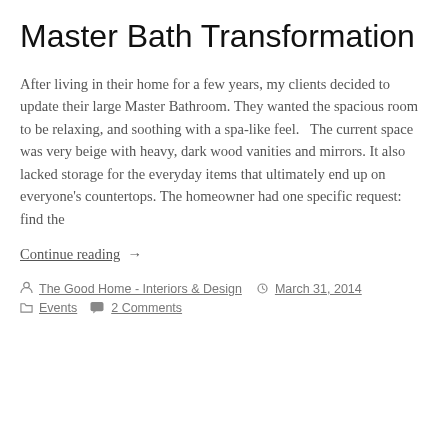Master Bath Transformation
After living in their home for a few years, my clients decided to update their large Master Bathroom. They wanted the spacious room to be relaxing, and soothing with a spa-like feel.   The current space was very beige with heavy, dark wood vanities and mirrors. It also lacked storage for the everyday items that ultimately end up on everyone's countertops. The homeowner had one specific request: find the
Continue reading  →
The Good Home - Interiors & Design   March 31, 2014   Events   2 Comments